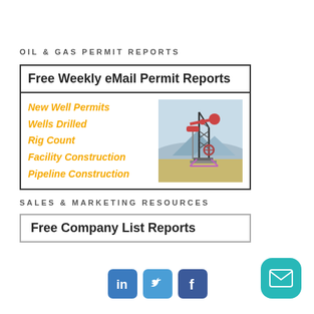OIL & GAS PERMIT REPORTS
Free Weekly eMail Permit Reports
New Well Permits
Wells Drilled
Rig Count
Facility Construction
Pipeline Construction
[Figure (photo): Oil pump jack in a field with mountains in background]
SALES & MARKETING RESOURCES
Free Company List Reports
[Figure (logo): LinkedIn social media icon - blue rounded square with 'in' white text]
[Figure (logo): Twitter social media icon - blue rounded square with bird logo]
[Figure (logo): Facebook social media icon - dark blue rounded square with 'f' white text]
[Figure (logo): Email/mail button - teal rounded square with envelope icon]